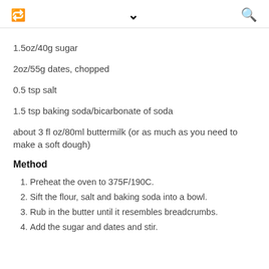retweet / chevron / search icons
1.5oz/40g sugar
2oz/55g dates, chopped
0.5 tsp salt
1.5 tsp baking soda/bicarbonate of soda
about 3 fl oz/80ml buttermilk (or as much as you need to make a soft dough)
Method
Preheat the oven to 375F/190C.
Sift the flour, salt and baking soda into a bowl.
Rub in the butter until it resembles breadcrumbs.
Add the sugar and dates and stir.